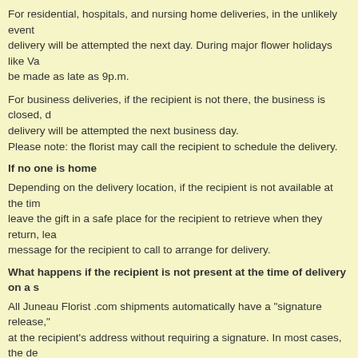For residential, hospitals, and nursing home deliveries, in the unlikely event delivery will be attempted the next day. During major flower holidays like Va be made as late as 9p.m.
For business deliveries, if the recipient is not there, the business is closed, delivery will be attempted the next business day. Please note: the florist may call the recipient to schedule the delivery.
If no one is home
Depending on the delivery location, if the recipient is not available at the tim leave the gift in a safe place for the recipient to retrieve when they return, le message for the recipient to call to arrange for delivery.
What happens if the recipient is not present at the time of delivery on a s
All Juneau Florist .com shipments automatically have a "signature release," at the recipient's address without requiring a signature. In most cases, the d and leave the product somewhere safe if there is no answer. If the driver fee unattended (i.e. an apartment building with no doorman) they may require a over the age of 21, must sign for the package.
Service Fees
For florist delivered products the service fee and starts at $9.99. The actual checkout and depends upon factors such as delivery date, if the order is exp
Incorrect Addresses
If the recipient's address is incorrect and delivery was attempted to the addr Juneau Florist .com is not responsible for deliveries made to incorrect addre such a delivery is made, the customer assumes responsibility for the entire p